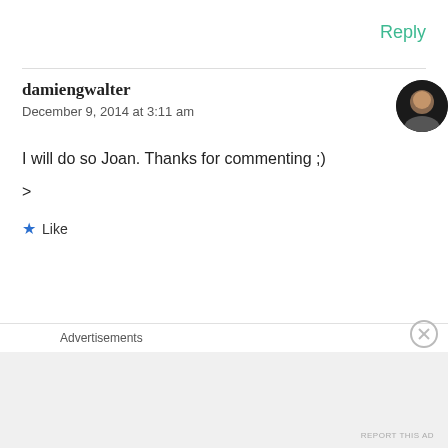Reply
damiengwalter
December 9, 2014 at 3:11 am
I will do so Joan. Thanks for commenting ;)
>
★ Like
👍 0 👎 0 ℹ Rate This
Advertisements
REPORT THIS AD